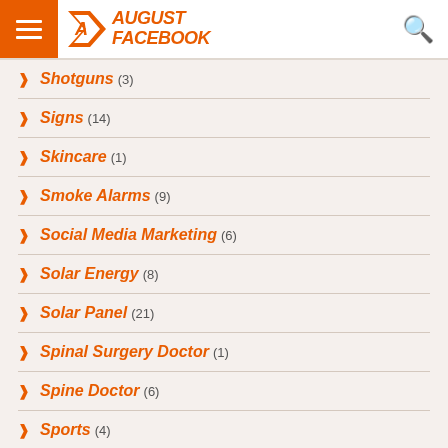August Facebook
Shotguns (3)
Signs (14)
Skincare (1)
Smoke Alarms (9)
Social Media Marketing (6)
Solar Energy (8)
Solar Panel (21)
Spinal Surgery Doctor (1)
Spine Doctor (6)
Sports (4)